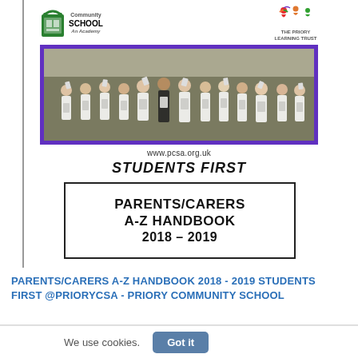[Figure (logo): Priory Community School - An Academy logo (left) and The Priory Learning Trust logo (right)]
[Figure (photo): Group photo of students in white shirts holding papers/certificates, standing in rows outdoors, framed with purple border]
www.pcsa.org.uk
STUDENTS FIRST
PARENTS/CARERS A-Z HANDBOOK 2018 – 2019
PARENTS/CARERS A-Z HANDBOOK 2018 - 2019 STUDENTS FIRST @PRIORYCSA - PRIORY COMMUNITY SCHOOL
We use cookies.
Got it